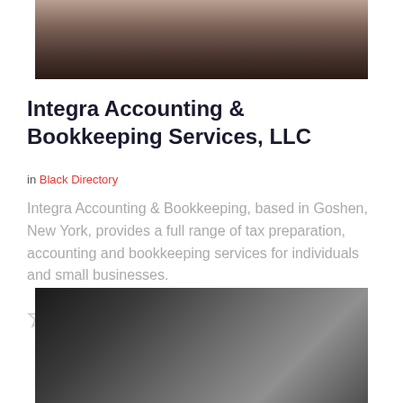[Figure (photo): Partial photo of a person (face/chin area visible) against a blurred background, cropped at top of page]
Integra Accounting & Bookkeeping Services, LLC
in Black Directory
Integra Accounting & Bookkeeping, based in Goshen, New York, provides a full range of tax preparation, accounting and bookkeeping services for individuals and small businesses.
[Figure (other): Five empty star rating icons]
[Figure (photo): Partial black and white photo of what appears to be a tablet or electronic device, cropped at bottom of page]